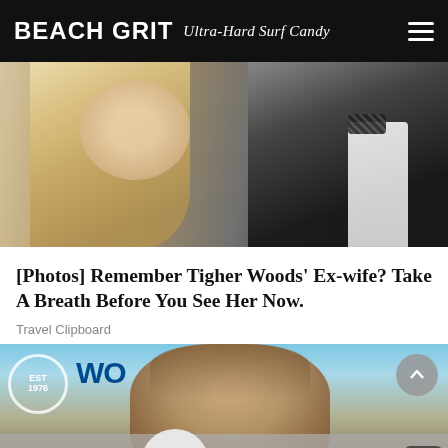BEACH GRIT Ultra-Hard Surf Candy
[Figure (photo): A blonde woman in formal attire next to a man in a tuxedo with a bow tie, cropped close-up photo]
[Photos] Remember Tigher Woods' Ex-wife? Take A Breath Before You See Her Now.
Travel Clipboard
[Figure (photo): Close-up of a wet-haired man outdoors, with surf organization logos (WSL) in the background and a blue sky. A play button overlay and bottom bar with havaianas logos are visible.]